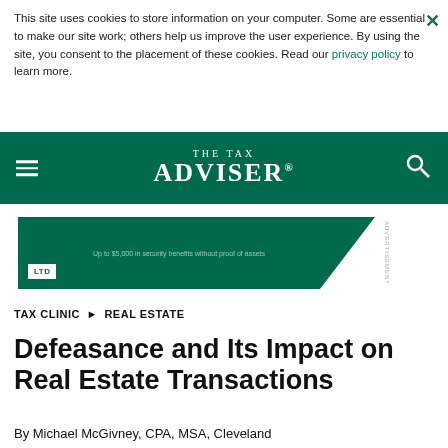This site uses cookies to store information on your computer. Some are essential to make our site work; others help us improve the user experience. By using the site, you consent to the placement of these cookies. Read our privacy policy to learn more.
[Figure (logo): The Tax Adviser logo in white on dark green navigation bar with hamburger menu and search icon]
[Figure (infographic): LTD advertisement banner in green with diagonal cut]
TAX CLINIC ▶ REAL ESTATE
Defeasance and Its Impact on Real Estate Transactions
By Michael McGivney, CPA, MSA, Cleveland